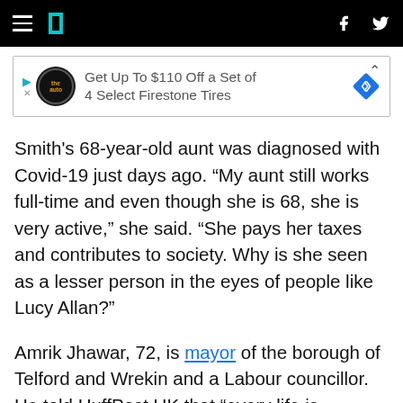HuffPost UK navigation bar with hamburger menu, logo, Facebook and Twitter icons
[Figure (other): Advertisement banner: Get Up To $110 Off a Set of 4 Select Firestone Tires]
Smith's 68-year-old aunt was diagnosed with Covid-19 just days ago. “My aunt still works full-time and even though she is 68, she is very active,” she said. “She pays her taxes and contributes to society. Why is she seen as a lesser person in the eyes of people like Lucy Allan?”
Amrik Jhawar, 72, is mayor of the borough of Telford and Wrekin and a Labour councillor. He told HuffPost UK that “every life is precious” and described Lucy Allan’s words as “unfortunate”.